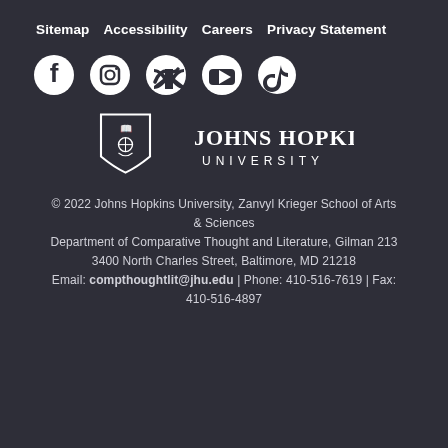Sitemap | Accessibility | Careers | Privacy Statement
[Figure (illustration): Social media icons: Facebook, Instagram, Twitter, YouTube, TikTok (white on dark background)]
[Figure (logo): Johns Hopkins University shield logo with text 'JOHNS HOPKINS UNIVERSITY']
© 2022 Johns Hopkins University, Zanvyl Krieger School of Arts & Sciences
Department of Comparative Thought and Literature, Gilman 213
3400 North Charles Street, Baltimore, MD 21218
Email: compthoughtlit@jhu.edu | Phone: 410-516-7619 | Fax: 410-516-4897